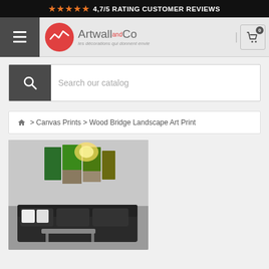★★★★★ 4,7/5 RATING CUSTOMER REVIEWS
[Figure (logo): Artwall and Co logo with red circle and wave, tagline: les décorations qui donnent envie]
Search our catalog
🏠 > Canvas Prints > Wood Bridge Landscape Art Print
[Figure (photo): Product photo: multi-panel canvas art print of wood bridge landscape displayed on wall above dark sofa in living room setting]